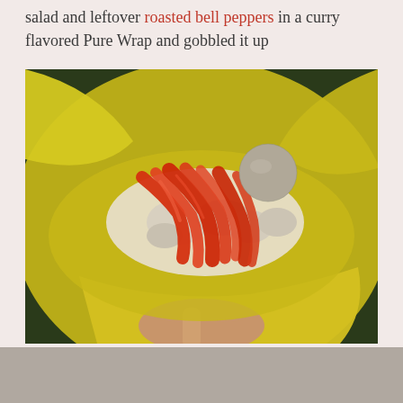salad and leftover roasted bell peppers in a curry flavored Pure Wrap and gobbled it up
[Figure (photo): Close-up photo of roasted red bell pepper strips and creamy chicken or tuna salad filling held in a yellow curry-flavored Pure Wrap flatbread, being held by a hand.]